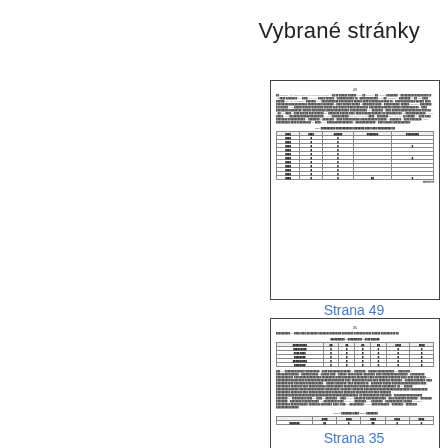Vybrané stránky
[Figure (screenshot): Thumbnail of page 49 showing dense text paragraphs and a data table with multiple columns and rows]
Strana 49
[Figure (screenshot): Thumbnail of page 35 showing text paragraphs and two smaller tables near the bottom]
Strana 35